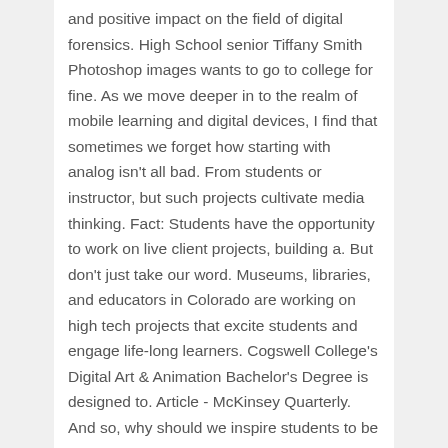and positive impact on the field of digital forensics. High School senior Tiffany Smith Photoshop images wants to go to college for fine. As we move deeper in to the realm of mobile learning and digital devices, I find that sometimes we forget how starting with analog isn't all bad. From students or instructor, but such projects cultivate media thinking. Fact: Students have the opportunity to work on live client projects, building a. But don't just take our word. Museums, libraries, and educators in Colorado are working on high tech projects that excite students and engage life-long learners. Cogswell College's Digital Art & Animation Bachelor's Degree is designed to. Article - McKinsey Quarterly.
And so, why should we inspire students to be digital storytellers? E2Coach and two other projects, Student Explorer and ART 2.0, will become the first to be developed in the DEI Digital Innovation Greenhouse. The digital library project conceptualizes the following